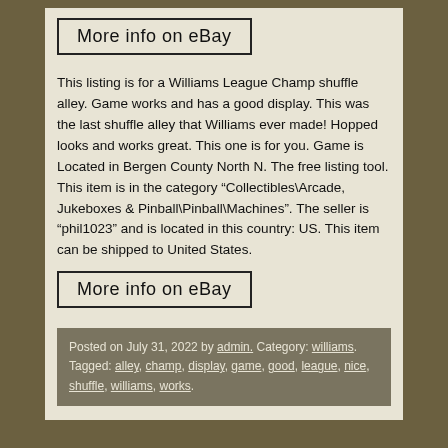[Figure (other): Button/link styled element reading 'More info on eBay' with a rectangular border]
This listing is for a Williams League Champ shuffle alley. Game works and has a good display. This was the last shuffle alley that Williams ever made! Hopped looks and works great. This one is for you. Game is Located in Bergen County North N. The free listing tool. This item is in the category “Collectibles\Arcade, Jukeboxes & Pinball\Pinball\Machines”. The seller is “phil1023” and is located in this country: US. This item can be shipped to United States.
[Figure (other): Button/link styled element reading 'More info on eBay' with a rectangular border]
Posted on July 31, 2022 by admin. Category: williams. Tagged: alley, champ, display, game, good, league, nice, shuffle, williams, works.